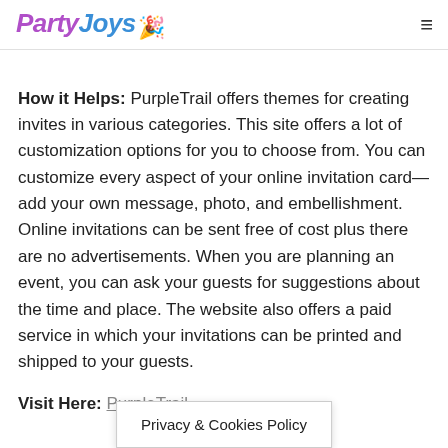PartyJoys
.
How it Helps: PurpleTrail offers themes for creating invites in various categories. This site offers a lot of customization options for you to choose from. You can customize every aspect of your online invitation card—add your own message, photo, and embellishment. Online invitations can be sent free of cost plus there are no advertisements. When you are planning an event, you can ask your guests for suggestions about the time and place. The website also offers a paid service in which your invitations can be printed and shipped to your guests.
Visit Here: PurpleTrail
Privacy & Cookies Policy